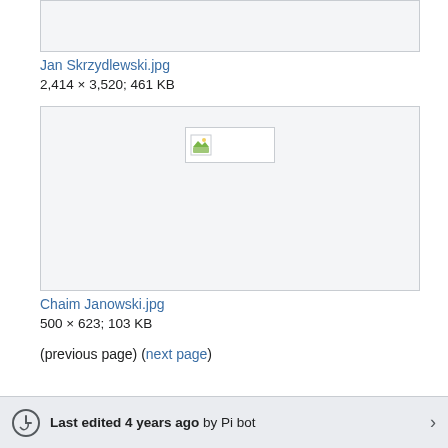[Figure (photo): Top portion of an image box, cropped, light gray background]
Jan Skrzydlewski.jpg
2,414 × 3,520; 461 KB
[Figure (photo): Image placeholder with broken image icon, light gray background]
Chaim Janowski.jpg
500 × 623; 103 KB
(previous page) (next page)
Last edited 4 years ago by Pi bot